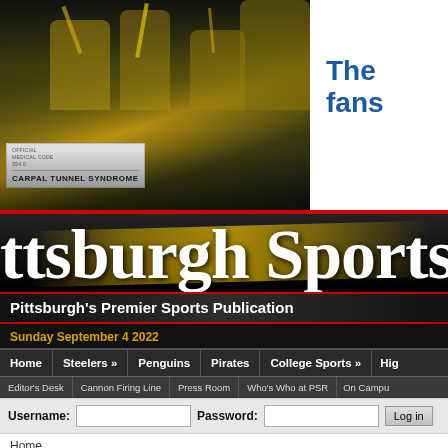[Figure (photo): Pittsburgh sports fans in yellow/black gear waving flags at a sporting event. A sign reading 'OFFICIAL MEDICAL CODE 354.0 | CARPAL TUNNEL SYNDROME' is visible.]
The fans
ttsburgh Sports Re
Pittsburgh's Premier Sports Publication
Sunday September 4 2022
Home | Steelers » | Penguins | Pirates | College Sports » | Hig
Editor's Desk | Cannon Firing Line | Press Room | Who's Who at PSR | On Campu
Username: [input] Password: [input] Log in
Home
[Figure (logo): PSR Press Room banner with hexagonal PSR badge and large white/yellow Press Room text on dark background with yellow brush strokes.]